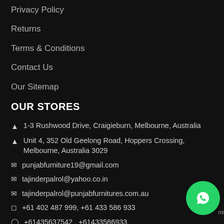Privacy Policy
Returns
Terms & Conditions
Contact Us
Our Sitemap
OUR STORES
1-3 Rushwood Drive, Craigieburn, Melbourne, Australia
Unit 4, 352 Old Geelong Road, Hoppers Crossing, Melbourne, Australia 3029
punjabfurniture19@gmail.com
tajinderpalrol@yahoo.co.in
tajinderpalrol@punjabfurnitures.com.au
+61 402 487 999, +61 433 586 933
+61435637542 , +61433586933
[Figure (logo): WhatsApp green circular button with phone handset icon]